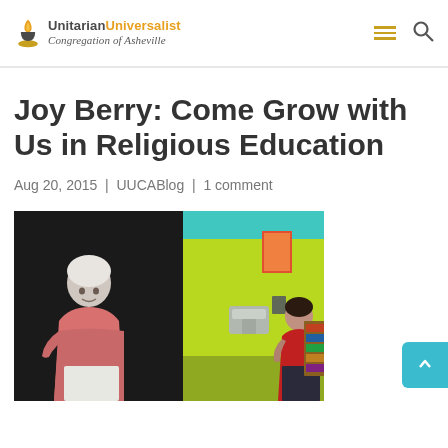Unitarian Universalist Congregation of Asheville
Joy Berry: Come Grow with Us in Religious Education
Aug 20, 2015 | UUCABlog | 1 comment
[Figure (photo): Two-panel photo: left panel shows an elderly white-haired woman in a pink shirt sitting and leaning forward; right panel shows a young girl in a red shirt standing in a bright yellow-green room with a water fountain on the wall.]